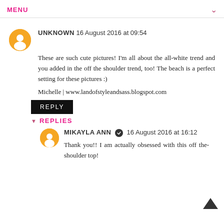MENU
UNKNOWN 16 August 2016 at 09:54
These are such cute pictures! I'm all about the all-white trend and you added in the off the shoulder trend, too! The beach is a perfect setting for these pictures :)
Michelle | www.landofstyleandsass.blogspot.com
REPLY
REPLIES
MIKAYLA ANN 16 August 2016 at 16:12
Thank you!! I am actually obsessed with this off the-shoulder top!